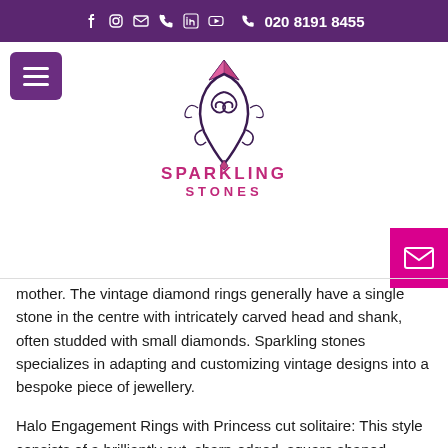020 8191 8455
[Figure (logo): Sparkling Stones jewellery logo with stylized diamond and swirl design]
mother. The vintage diamond rings generally have a single stone in the centre with intricately carved head and shank, often studded with small diamonds. Sparkling stones specializes in adapting and customizing vintage designs into a bespoke piece of jewellery.
Halo Engagement Rings with Princess cut solitaire: This style consists of a brilliantly cut, sharp-edged, square shaped diamond, surrounded by smaller diamonds. This kind of diamond engagement ring is popular for its edgy and ‘not-so-conventional’ look.